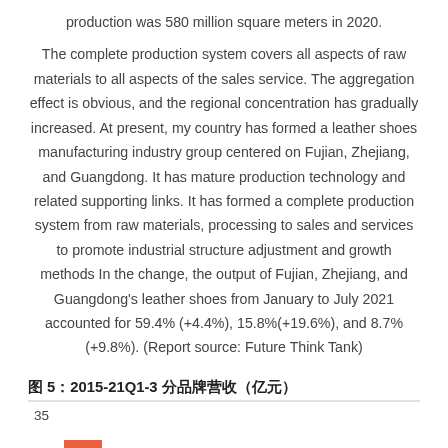production was 580 million square meters in 2020.
The complete production system covers all aspects of raw materials to all aspects of the sales service. The aggregation effect is obvious, and the regional concentration has gradually increased. At present, my country has formed a leather shoes manufacturing industry group centered on Fujian, Zhejiang, and Guangdong. It has mature production technology and related supporting links. It has formed a complete production system from raw materials, processing to sales and services to promote industrial structure adjustment and growth methods In the change, the output of Fujian, Zhejiang, and Guangdong's leather shoes from January to July 2021 accounted for 59.4%(+4.4%), 15.8%(+19.6%), and 8.7%(+9.8%). (Report source: Future Think Tank)
图 5：2015-21Q1-3 分品牌营收（亿元）
[Figure (bar-chart): Partial bar chart showing y-axis starting at 35, with an orange bar segment visible at the bottom of the chart area.]